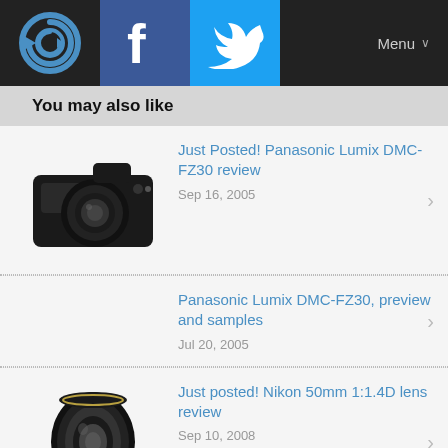Menu
You may also like
Just Posted! Panasonic Lumix DMC-FZ30 review
Panasonic Lumix DMC-FZ30, preview and samples
Just posted! Nikon 50mm 1:1.4D lens review
Just posted! Canon EF 50mm F1.4 USM lens review